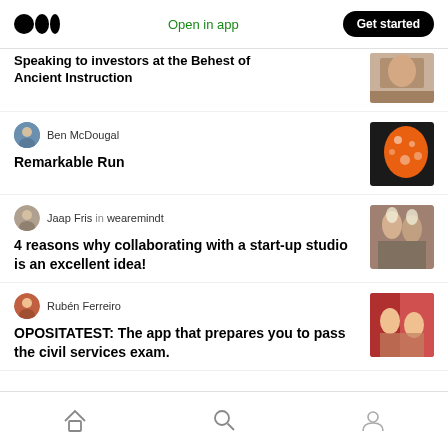Medium app header with logo, Open in app, Get started
Speaking to investors at the Behest of Ancient Instruction
Ben McDougal
Remarkable Run
Jaap Fris in wearemindt
4 reasons why collaborating with a start-up studio is an excellent idea!
Rubén Ferreiro
OPOSITATEST: The app that prepares you to pass the civil services exam.
Home | Search | Profile navigation icons